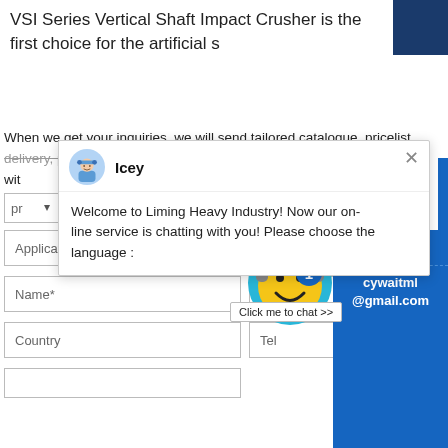VSI Series Vertical Shaft Impact Crusher is the first choice for the artificial s
When we get your inquiries, we will send tailored catalogue, pricelist, delivery, payment terms and other required details to you by email with
[Figure (screenshot): Chat popup from Icey at Liming Heavy Industry with message: Welcome to Liming Heavy Industry! Now our on-line service is chatting with you! Please choose the language]
[Figure (screenshot): Live chat widget with smiley face avatar with headset, blue background, badge showing '1', and 'Click me to chat >>' button]
Application*
Capacity*
Name*
E-mail*
Country
Tel
Enquiry
cywaitml @gmail.com